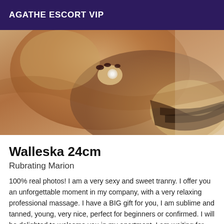AGATHE ESCORT VIP
[Figure (photo): Close-up photo of a person's body with jewelry and strappy sandals, warm brown skin tones.]
Walleska 24cm
Rubrating Marion
100% real photos! I am a very sexy and sweet tranny. I offer you an unforgettable moment in my company, with a very relaxing professional massage. I have a BIG gift for you, I am sublime and tanned, young, very nice, perfect for beginners or confirmed. I will be delighted to welcome you in my apartment. I am waiting for you with a very nice lingerie. Don`t wait any longer to live a